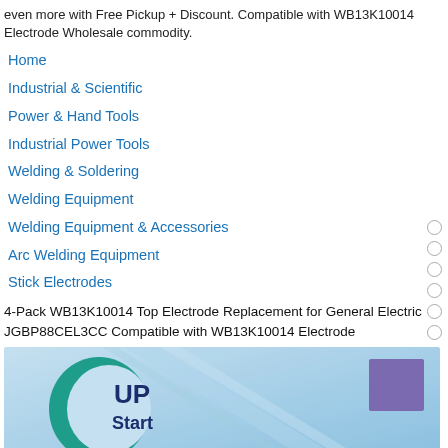even more with Free Pickup + Discount. Compatible with WB13K10014 Electrode Wholesale commodity.
Home
Industrial & Scientific
Power & Hand Tools
Industrial Power Tools
Welding & Soldering
Welding Equipment
Welding Equipment & Accessories
Arc Welding Equipment
Stick Electrodes
4-Pack WB13K10014 Top Electrode Replacement for General Electric JGBP88CEL3CC Compatible with WB13K10014 Electrode
[Figure (photo): Product image showing UpStart branded packaging with blue background and teal/green logo]